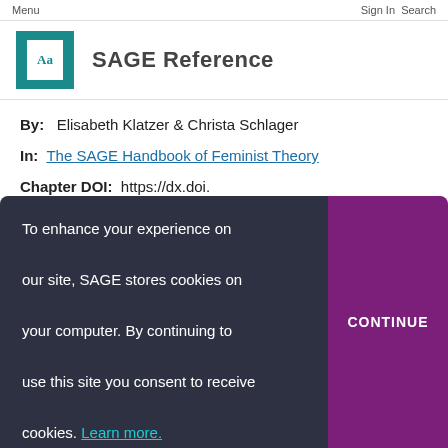Menu    Sign In  Search
SAGE Reference
By:   Elisabeth Klatzer & Christa Schlager
In:  The SAGE Handbook of Feminist Theory
Chapter DOI:  https://dx.doi.org/10.4135/9781473909502.n28
To enhance your experience on our site, SAGE stores cookies on your computer. By continuing to use this site you consent to receive cookies. Learn more.
CONTINUE